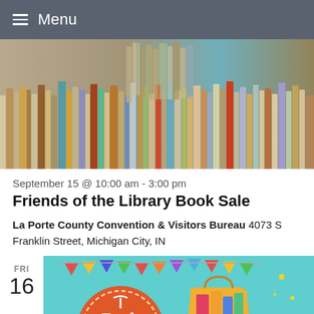Menu
[Figure (photo): Rows of books on shelves viewed from above at an angle, showing colorful spines.]
September 15 @ 10:00 am - 3:00 pm
Friends of the Library Book Sale
La Porte County Convention & Visitors Bureau 4073 S Franklin Street, Michigan City, IN
FRI 16
[Figure (illustration): Colorful book sale illustration with a red circular badge reading 'Book Sale', bunting flags, and a yellow shopping bag with colorful books inside, on a teal background.]